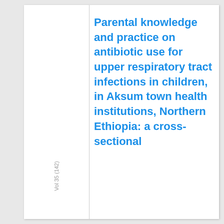Vol 35 (142)
Parental knowledge and practice on antibiotic use for upper respiratory tract infections in children, in Aksum town health institutions, Northern Ethiopia: a cross-sectional